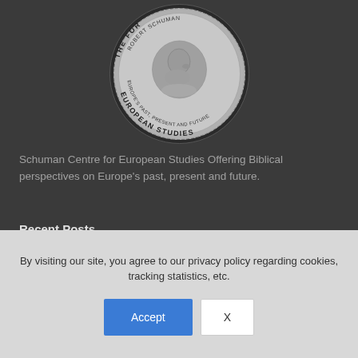[Figure (logo): Circular medal logo for the Schuman Centre for European Studies — Robert Schuman's profile relief on a coin, text around the rim reading THE [centre] FOR EUROPEAN STUDIES and ROBERT SCHUMAN EUROPE'S PAST, PRESENT AND FUTURE]
Schuman Centre for European Studies Offering Biblical perspectives on Europe's past, present and future.
Recent Posts
Summer School of European Studies 2022
By visiting our site, you agree to our privacy policy regarding cookies, tracking statistics, etc.